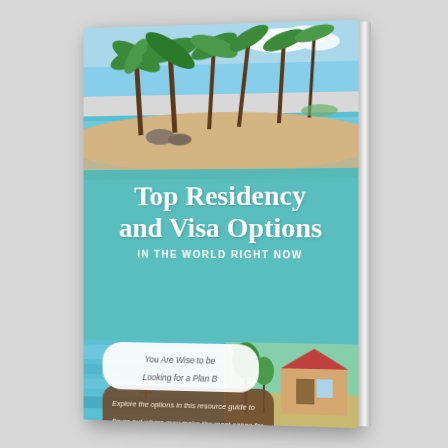[Figure (illustration): 3D perspective book cover for 'Top Residency and Visa Options in the World Right Now'. The cover features a tropical beach photograph at the top, a teal/aqua colored band with the title text in large white serif font, a subtitle in uppercase sans-serif, a white rounded-rectangle badge saying 'You Are Wise to be Looking for a Plan B', a brown rounded-rectangle with descriptive text about exploring residency options, and two bottom panels showing water/paddleboarding scene and a tropical house scene. The book is shown in 3D perspective with a gray spine visible on the right.]